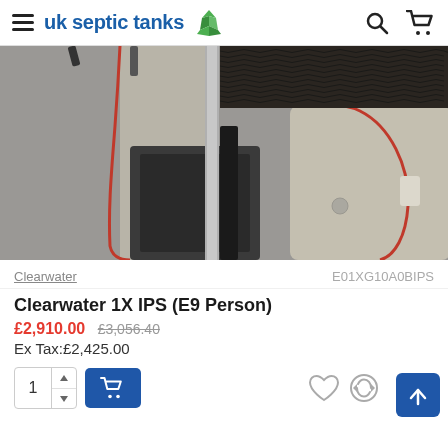uk septic tanks
[Figure (photo): Close-up cutaway view of a Clearwater 1X IPS septic tank unit showing internal components including corrugated media filter, settlement chamber and tank housing with red outline indicating the cross-section]
Clearwater   E01XG10A0BIPS
Clearwater 1X IPS (E9 Person)
£2,910.00  £3,056.40  Ex Tax:£2,425.00